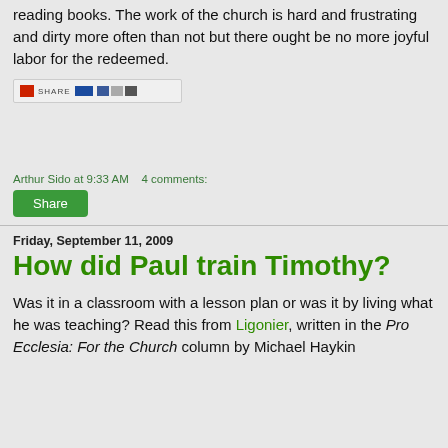reading books. The work of the church is hard and frustrating and dirty more often than not but there ought be no more joyful labor for the redeemed.
[Figure (screenshot): Social sharing toolbar/widget with red icon, text, blue bar, and small icons]
Arthur Sido at 9:33 AM   4 comments:
Share
Friday, September 11, 2009
How did Paul train Timothy?
Was it in a classroom with a lesson plan or was it by living what he was teaching? Read this from Ligonier, written in the Pro Ecclesia: For the Church column by Michael Haykin